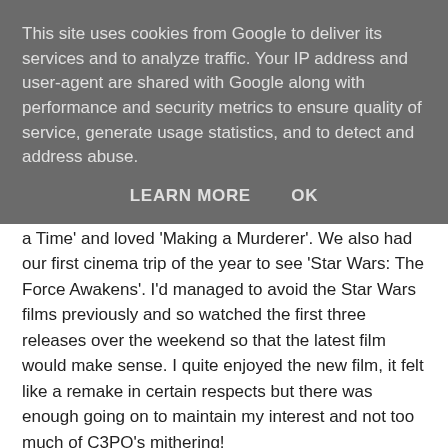This site uses cookies from Google to deliver its services and to analyze traffic. Your IP address and user-agent are shared with Google along with performance and security metrics to ensure quality of service, generate usage statistics, and to detect and address abuse.
LEARN MORE   OK
able to do too much. I've watched a lot of 'Once Upon a Time' and loved 'Making a Murderer'. We also had our first cinema trip of the year to see 'Star Wars: The Force Awakens'. I'd managed to avoid the Star Wars films previously and so watched the first three releases over the weekend so that the latest film would make sense. I quite enjoyed the new film, it felt like a remake in certain respects but there was enough going on to maintain my interest and not too much of C3PO's mithering!
As we've not needed two cars for the last few months I sold mine last weekend. I thought it would be really difficult to get rid of and was steeling myself for a trip to 'We Buy Any Car' my but a quick call to the local garage and it was gone within